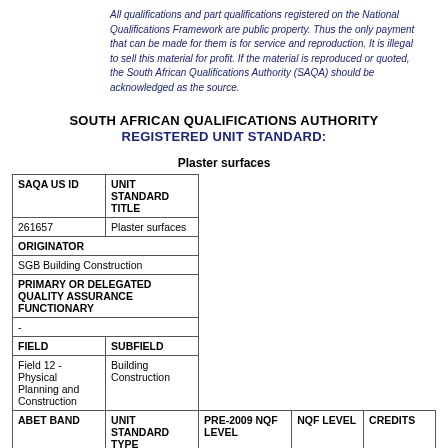All qualifications and part qualifications registered on the National Qualifications Framework are public property. Thus the only payment that can be made for them is for service and reproduction. It is illegal to sell this material for profit. If the material is reproduced or quoted, the South African Qualifications Authority (SAQA) should be acknowledged as the source.
SOUTH AFRICAN QUALIFICATIONS AUTHORITY
REGISTERED UNIT STANDARD:
Plaster surfaces
| SAQA US ID | UNIT STANDARD TITLE |
| --- | --- |
| 261657 | Plaster surfaces |
| ORIGINATOR |  |
| SGB Building Construction |  |
| PRIMARY OR DELEGATED QUALITY ASSURANCE FUNCTIONARY |  |
| - |  |
| FIELD | SUBFIELD |
| Field 12 - Physical Planning and Construction | Building Construction |
| ABET BAND | UNIT STANDARD TYPE | PRE-2009 NQF LEVEL | NQF LEVEL | CREDITS |